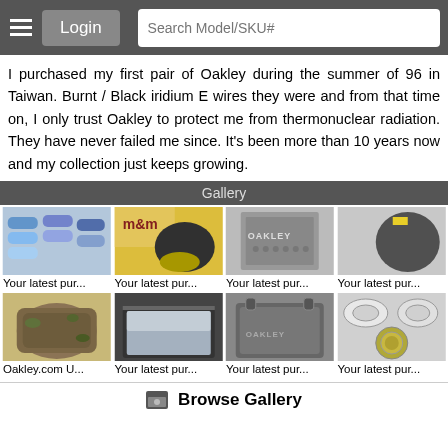Login | Search Model/SKU#
I purchased my first pair of Oakley during the summer of 96 in Taiwan. Burnt / Black iridium E wires they were and from that time on, I only trust Oakley to protect me from thermonuclear radiation. They have never failed me since. It's been more than 10 years now and my collection just keeps growing.
Gallery
[Figure (photo): Gallery thumbnail 1: sunglasses collection]
Your latest pur...
[Figure (photo): Gallery thumbnail 2: Oakley shoes with M&M bag]
Your latest pur...
[Figure (photo): Gallery thumbnail 3: Oakley display case]
Your latest pur...
[Figure (photo): Gallery thumbnail 4: Oakley cap/item]
Your latest pur...
[Figure (photo): Gallery thumbnail 5: camouflage backpack]
Oakley.com U...
[Figure (photo): Gallery thumbnail 6: Oakley cooler bag open]
Your latest pur...
[Figure (photo): Gallery thumbnail 7: Oakley mesh tote bag]
Your latest pur...
[Figure (photo): Gallery thumbnail 8: Oakley medals/logos]
Your latest pur...
Browse Gallery